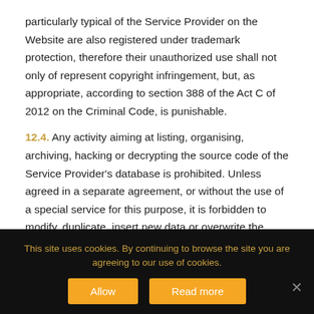particularly typical of the Service Provider on the Website are also registered under trademark protection, therefore their unauthorized use shall not only of represent copyright infringement, but, as appropriate, according to section 388 of the Act C of 2012 on the Criminal Code, is punishable.
12.4. Any activity aiming at listing, organising, archiving, hacking or decrypting the source code of the Service Provider's database is prohibited. Unless agreed in a separate agreement, or without the use of a special service for this purpose, it is forbidden to modify, duplicate, insert new data or overwrite the existing data
This site uses cookies. By continuing to browse the site you are agreeing to our use of cookies.